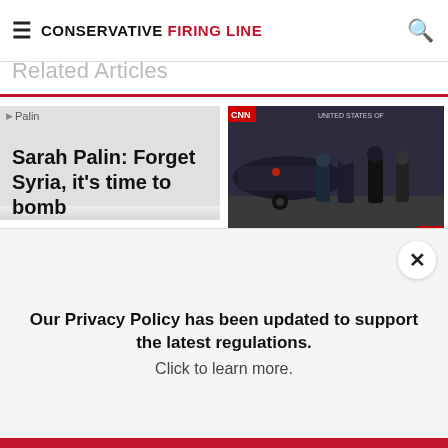CONSERVATIVE FIRING LINE
Related Articles
[Figure (photo): Broken image placeholder for Palin article]
Sarah Palin: Forget Syria, it's time to bomb
[Figure (photo): Photo of President Trump and Marines on a tarmac, dark/evening setting, several men in military uniforms and suits near an aircraft]
Video: President Trump picks up Marine's cover twice, places back on Marine's head in humble, classy move
July 9, 2017
Our Privacy Policy has been updated to support the latest regulations. Click to learn more.